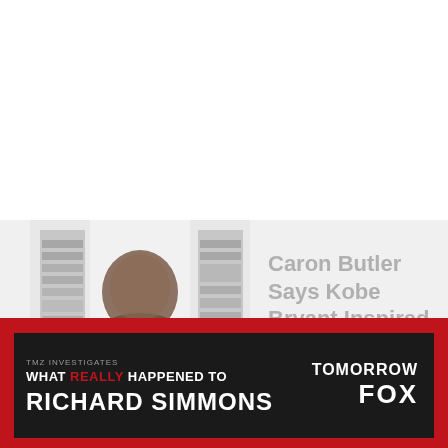[Figure (screenshot): Video thumbnail showing a man (Caron Butler) in a room with bookshelves visible behind him, appearing to be in a video call or interview setting.]
Caron Butler Says Kobe Bryant Inspired Him To Write New Kids Book
[Figure (screenshot): Advertisement banner for TMZ Investigates: What Really Happened To Richard Simmons, airing Tomorrow on FOX. Dark background with red and white text.]